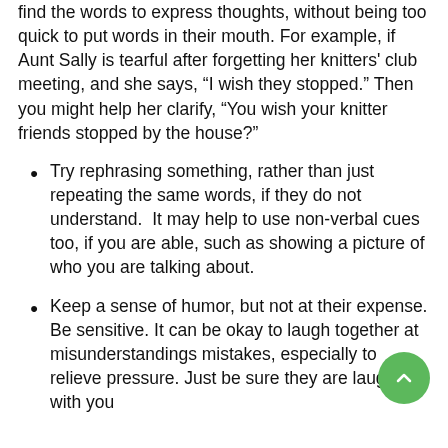find the words to express thoughts, without being too quick to put words in their mouth. For example, if Aunt Sally is tearful after forgetting her knitters' club meeting, and she says, “I wish they stopped.” Then you might help her clarify, “You wish your knitter friends stopped by the house?”
Try rephrasing something, rather than just repeating the same words, if they do not understand.  It may help to use non-verbal cues too, if you are able, such as showing a picture of who you are talking about.
Keep a sense of humor, but not at their expense. Be sensitive. It can be okay to laugh together at misunderstandings mistakes, especially to relieve pressure. Just be sure they are laughing with you